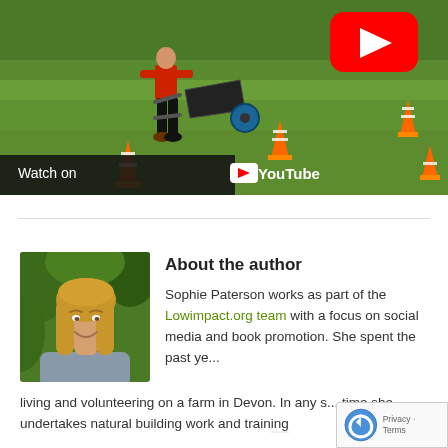[Figure (screenshot): YouTube video thumbnail showing children doing an activity on a grass field with traffic cones, with a red YouTube play button in the top right and a 'Watch on YouTube' bar at the bottom left.]
[Figure (photo): Author photo of Sophie Paterson, a woman with long blonde hair, smiling, outdoors with green vegetation in background.]
About the author
Sophie Paterson works as part of the Lowimpact.org team with a focus on social media and book promotion. She spent the past ye... living and volunteering on a farm in Devon. In any s... time she undertakes natural building work and training